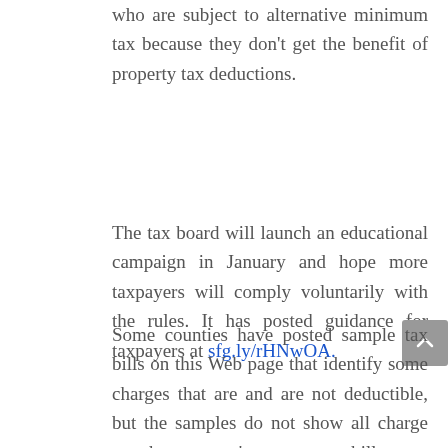who are subject to alternative minimum tax because they don't get the benefit of property tax deductions.
The tax board will launch an educational campaign in January and hope more taxpayers will comply voluntarily with the rules. It has posted guidance for taxpayers at sfg.ly/rHNwOA.
Some counties have posted sample tax bills on this Web page that identify some charges that are and are not deductible, but the samples do not show all charge on a homeowner's property tax bill.